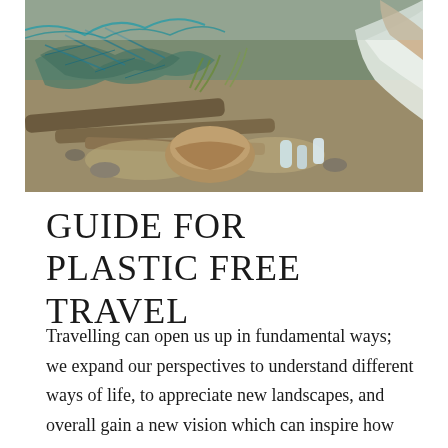[Figure (photo): Aerial or close-up photograph of beach debris and ocean plastic waste — fishing nets, driftwood, plastic bottles, bags, and other marine litter spread on a rocky beach surface, with a person in white clothing visible at the right edge collecting waste.]
GUIDE FOR PLASTIC FREE TRAVEL
Travelling can open us up in fundamental ways; we expand our perspectives to understand different ways of life, to appreciate new landscapes, and overall gain a new vision which can inspire how we act